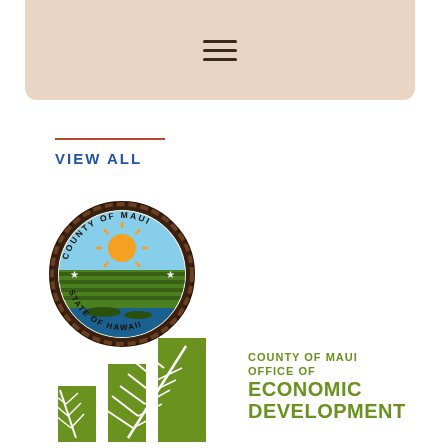[Figure (screenshot): Navigation bar with hamburger menu icon on tan/beige background]
VIEW ALL
[Figure (logo): County of Maui official seal - circular badge with sun, fields, and ocean imagery. Text reads: COUNTY OF MAUI, STATE OF HAWAII]
[Figure (logo): County of Maui Office of Economic Development logo - green bar chart graphic with white fern leaf overlay, accompanied by text: COUNTY OF MAUI OFFICE OF ECONOMIC DEVELOPMENT]